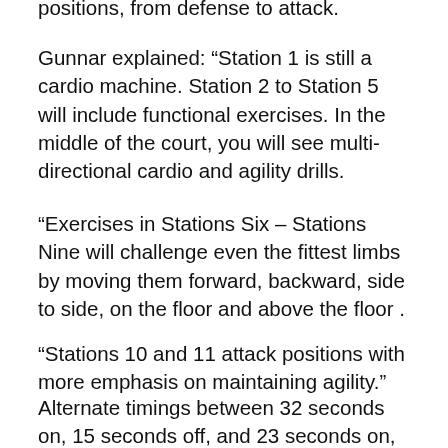positions, from defense to attack.
Gunnar explained: “Station 1 is still a cardio machine. Station 2 to Station 5 will include functional exercises. In the middle of the court, you will see multi-directional cardio and agility drills.
“Exercises in Stations Six – Stations Nine will challenge even the fittest limbs by moving them forward, backward, side to side, on the floor and above the floor .
“Stations 10 and 11 attack positions with more emphasis on maintaining agility.”
Alternate timings between 32 seconds on, 15 seconds off, and 23 seconds on, followed by